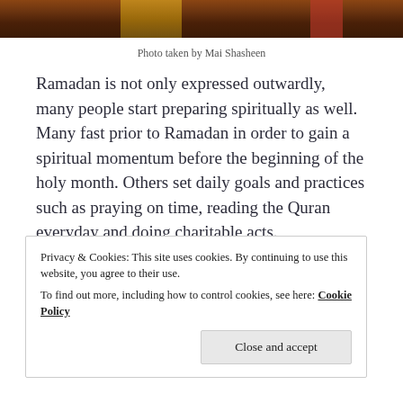[Figure (photo): Partial photo of a scene with red structures and golden/yellow element on a brick-patterned surface, cropped at top of page]
Photo taken by Mai Shasheen
Ramadan is not only expressed outwardly, many people start preparing spiritually as well. Many fast prior to Ramadan in order to gain a spiritual momentum before the beginning of the holy month. Others set daily goals and practices such as praying on time, reading the Quran everyday and doing charitable acts.
Privacy & Cookies: This site uses cookies. By continuing to use this website, you agree to their use.
To find out more, including how to control cookies, see here: Cookie Policy
Close and accept